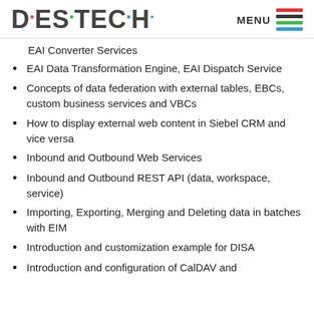DESTECH | MENU
EAI Converter Services
EAI Data Transformation Engine, EAI Dispatch Service
Concepts of data federation with external tables, EBCs, custom business services and VBCs
How to display external web content in Siebel CRM and vice versa
Inbound and Outbound Web Services
Inbound and Outbound REST API (data, workspace, service)
Importing, Exporting, Merging and Deleting data in batches with EIM
Introduction and customization example for DISA
Introduction and configuration of CalDAV and